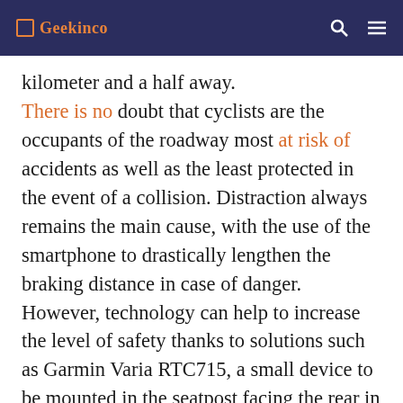☐ Geekinco
kilometer and a half away. There is no doubt that cyclists are the occupants of the roadway most at risk of accidents as well as the least protected in the event of a collision. Distraction always remains the main cause, with the use of the smartphone to drastically lengthen the braking distance in case of danger. However, technology can help to increase the level of safety thanks to solutions such as Garmin Varia RTC715, a small device to be mounted in the seatpost facing the rear in order to assist the user with a radar, a multifunction position light and, news,